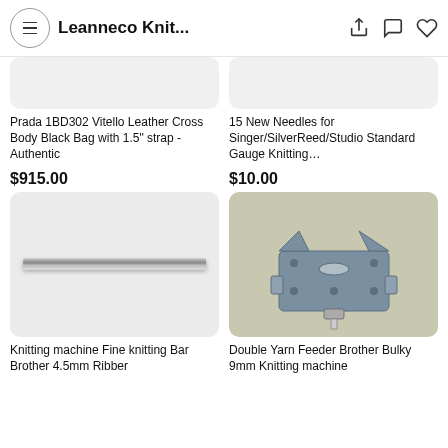Leanneco Knit...
Prada 1BD302 Vitello Leather Cross Body Black Bag with 1.5" strap - Authentic
$915.00
15 New Needles for Singer/SilverReed/Studio Standard Gauge Knitting...
$10.00
[Figure (photo): Knitting machine fine knitting bar product image]
Knitting machine Fine knitting Bar Brother 4.5mm Ribber
[Figure (photo): Double Yarn Feeder Brother Bulky 9mm Knitting machine part shown on wooden surface]
Double Yarn Feeder Brother Bulky 9mm Knitting machine